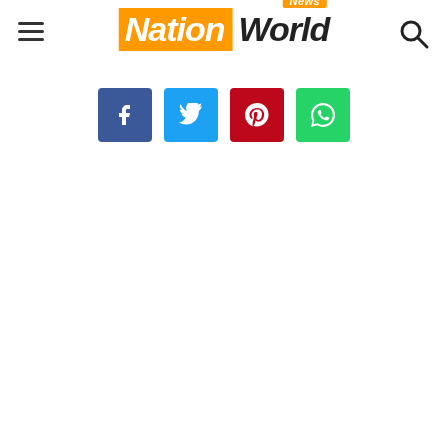[Figure (logo): Nation World News logo with orange 'News' badge above, orange background 'Nation' text and dark 'World' text in italic bold style]
[Figure (infographic): Social media share buttons: Facebook (blue), Twitter (light blue), Pinterest (red), WhatsApp (green)]